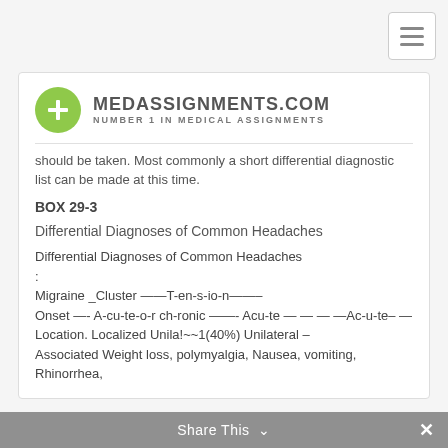[Figure (logo): MedAssignments.com logo with green circle containing a white plus sign, followed by text MEDASSIGNMENTS.COM and NUMBER 1 IN MEDICAL ASSIGNMENTS]
should be taken. Most commonly a short differential diagnostic list can be made at this time.
BOX 29-3
Differential Diagnoses of Common Headaches
Differential Diagnoses of Common Headaches
:
Migraine _Cluster ——T-en-s-io-n——–
Onset —- A-cu-te-o-r ch-ronic ——- Acu-te — — — —Ac-u-te– —
Location. Localized Unila!~~1(40%) Unilateral –
Associated Weight loss, polymyalgia, Nausea, vomiting, Rhinorrhea,
Share This ∨  ✕